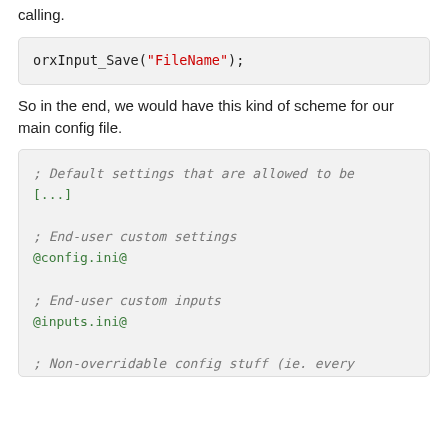calling.
So in the end, we would have this kind of scheme for our main config file.